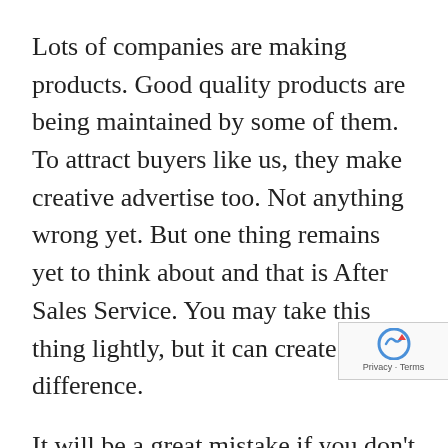Lots of companies are making products. Good quality products are being maintained by some of them. To attract buyers like us, they make creative advertise too. Not anything wrong yet. But one thing remains yet to think about and that is After Sales Service. You may take this thing lightly, but it can create a huge difference.
It will be a great mistake if you don't check the facts like warranty, guarantee and return policies. Whether the seller claim it as the best quality product or not, he cann't claim that nothing will happen with it. Not a single thing will last forever in this universe. Still a minimum return of value you deserve from the high frequency facial wa you will pay for. So, be careful about checkin policies. Sometimes, you may find some policies